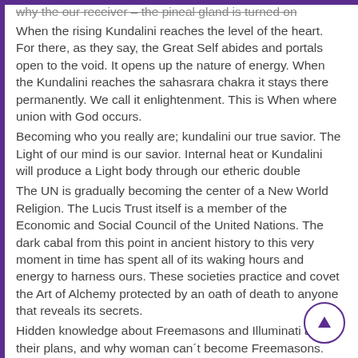why the our receiver – the pineal gland is turned on (strikethrough)
When the rising Kundalini reaches the level of the heart. For there, as they say, the Great Self abides and portals open to the void. It opens up the nature of energy. When the Kundalini reaches the sahasrara chakra it stays there permanently. We call it enlightenment. This is When where union with God occurs.
Becoming who you really are; kundalini our true savior. The Light of our mind is our savior. Internal heat or Kundalini will produce a Light body through our etheric double
The UN is gradually becoming the center of a New World Religion. The Lucis Trust itself is a member of the Economic and Social Council of the United Nations. The dark cabal from this point in ancient history to this very moment in time has spent all of its waking hours and energy to harness ours. These societies practice and covet the Art of Alchemy protected by an oath of death to anyone that reveals its secrets.
Hidden knowledge about Freemasons and Illuminati and their plans, and why woman can´t become Freemasons. The founder of Illuminati Adam Weishaupt was expert witchcraft